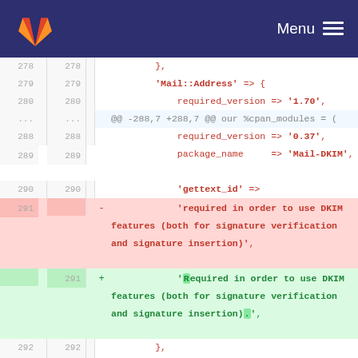GitLab Menu
[Figure (screenshot): GitLab diff view showing code changes to a Perl configuration file with line numbers, deleted lines (red background) and added lines (green background). Lines 278-294 are shown including changes to a 'required in order to use DKIM features' string capitalizing 'Required'.]